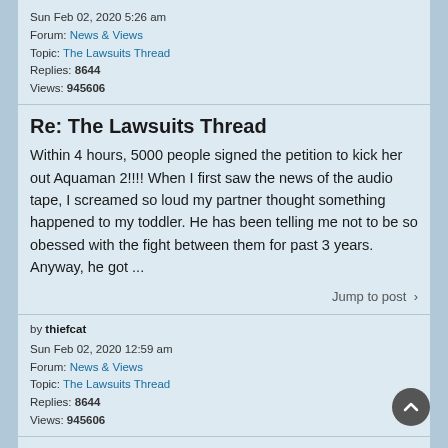Sun Feb 02, 2020 5:26 am
Forum: News & Views
Topic: The Lawsuits Thread
Replies: 8644
Views: 945606
Re: The Lawsuits Thread
Within 4 hours, 5000 people signed the petition to kick her out Aquaman 2!!!! When I first saw the news of the audio tape, I screamed so loud my partner thought something happened to my toddler. He has been telling me not to be so obessed with the fight between them for past 3 years. Anyway, he got ...
Jump to post >
by thiefcat
Sun Feb 02, 2020 12:59 am
Forum: News & Views
Topic: The Lawsuits Thread
Replies: 8644
Views: 945606
Re: The Lawsuits Thread
Here is the link to Weibo
http://s.weibo.com/weibo?q=%23%E5%BE%B7 ... 6%8D%AE%23
it is in Chinese
Jump to post >
by thiefcat